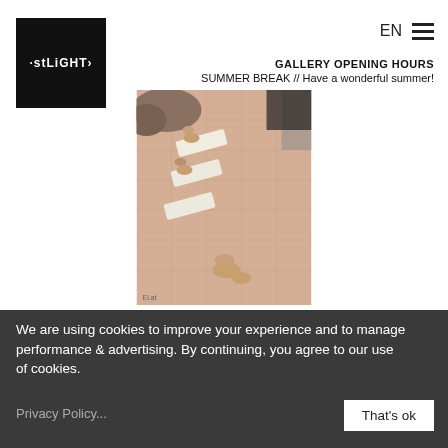[Figure (logo): OSTLICHT gallery logo — white text on black square background]
EN ☰
GALLERY OPENING HOURS
SUMMER BREAK // Have a wonderful summer!
[Figure (photo): Aerial/overhead photograph of people sunbathing on a tiled terrace/patio with light-colored tiles, rocks visible in background, people lying on loungers or ground, warm sandy tones.]
We are using cookies to improve your experience and to manage performance & advertising. By continuing, you agree to our use of cookies.
Privacy Policy...
That's ok